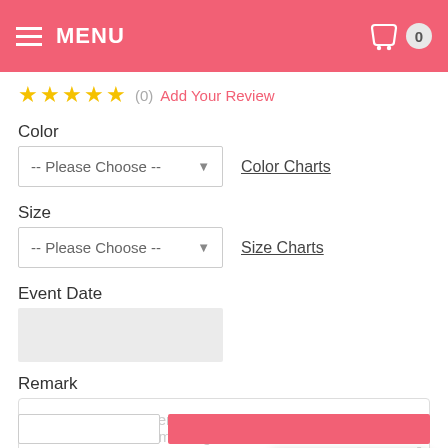MENU
★★★★★ (0) Add Your Review
Color
-- Please Choose --
Color Charts
Size
-- Please Choose --
Size Charts
Event Date
Remark
If you have any other requirements for this item, please feel free to leave a message here.
Leave a message